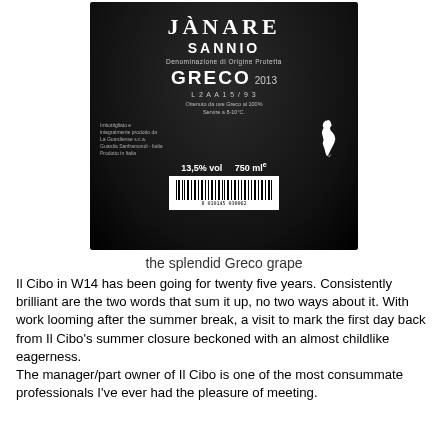[Figure (photo): Back label of a wine bottle: Janare Sannio Denominazione di Origine Protetta Greco 2013, L2AA15/93, 13.5% vol, 750ml, produced by La Guardiense s.c.a., Guardia Sanframondi - Italia. Dark bottle with white text label and Italy map silhouette, barcode at bottom.]
the splendid Greco grape
Il Cibo in W14 has been going for twenty five years. Consistently brilliant are the two words that sum it up, no two ways about it. With work looming after the summer break, a visit to mark the first day back from Il Cibo's summer closure beckoned with an almost childlike eagerness.
The manager/part owner of Il Cibo is one of the most consummate professionals I've ever had the pleasure of meeting.